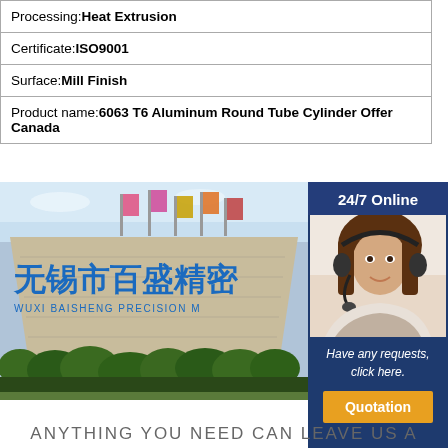| Processing: | Heat Extrusion |
| Certificate: | ISO9001 |
| Surface: | Mill Finish |
| Product name: | 6063 T6 Aluminum Round Tube Cylinder Offer Canada |
[Figure (photo): Factory building with Chinese characters 无锡市百盛精密 (WUXI BAISHENG PRECISION) on the facade, with flags and bushes in foreground]
[Figure (photo): Customer service representative with headset, 24/7 Online badge, 'Have any requests, click here.' text and Quotation button]
ANYTHING YOU NEED CAN LEAVE US A